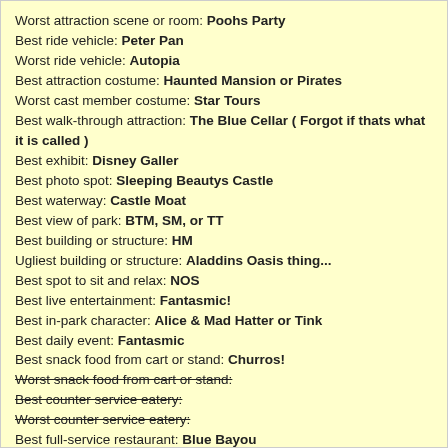Worst attraction scene or room: Poohs Party
Best ride vehicle: Peter Pan
Worst ride vehicle: Autopia
Best attraction costume: Haunted Mansion or Pirates
Worst cast member costume: Star Tours
Best walk-through attraction: The Blue Cellar ( Forgot if thats what it is called )
Best exhibit: Disney Galler
Best photo spot: Sleeping Beautys Castle
Best waterway: Castle Moat
Best view of park: BTM, SM, or TT
Best building or structure: HM
Ugliest building or structure: Aladdins Oasis thing...
Best spot to sit and relax: NOS
Best live entertainment: Fantasmic!
Best in-park character: Alice & Mad Hatter or Tink
Best daily event: Fantasmic
Best snack food from cart or stand: Churros!
Worst snack food from cart or stand: [strikethrough]
Best counter service eatery: [strikethrough]
Worst counter service eatery: [strikethrough]
Best full-service restaurant: Blue Bayou
Worst full service restaurant: [strikethrough]
Best food item in park: Churros!
Best beverage in park: Diet Coke!
Worst food or beverage item in park: Coke....
Best time of day to visit: Morning
Worst time of day to visit: Noon